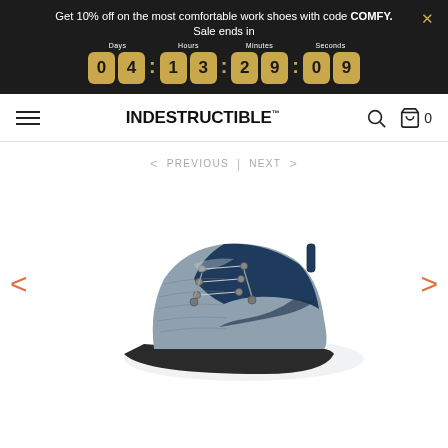Get 10% off on the most comfortable work shoes with code COMFY. Sale ends in
[Figure (infographic): Countdown timer showing 04:13:29:09 with gold rounded digit boxes labeled Days, Hours, Minutes, Seconds]
INDESTRUCTIBLE™
< PREVIOUS | NEXT >
[Figure (photo): Partial view of a gray and navy blue work shoe/sneaker with metal lace hardware, shown from the upper side angle]